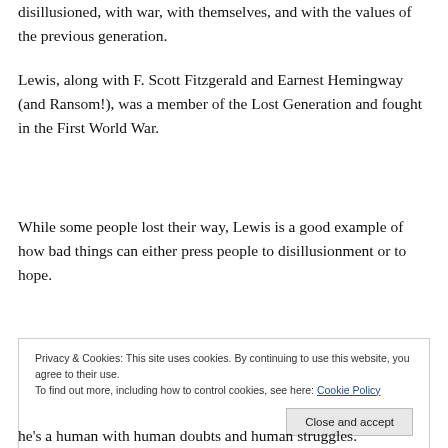disillusioned, with war, with themselves, and with the values of the previous generation.
Lewis, along with F. Scott Fitzgerald and Earnest Hemingway (and Ransom!), was a member of the Lost Generation and fought in the First World War.
While some people lost their way, Lewis is a good example of how bad things can either press people to disillusionment or to hope.
Privacy & Cookies: This site uses cookies. By continuing to use this website, you agree to their use.
To find out more, including how to control cookies, see here: Cookie Policy
he's a human with human doubts and human struggles.